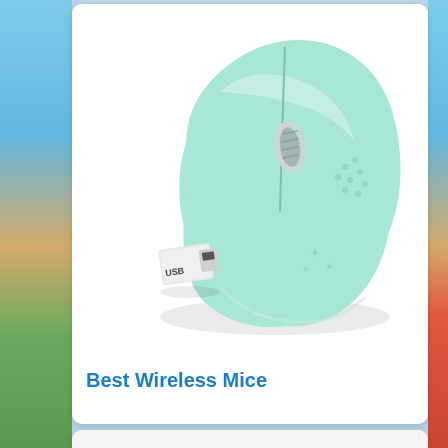[Figure (photo): A mint/teal colored wireless computer mouse with a small white USB dongle receiver below it, shown on white background]
Best Wireless Mice
[Figure (photo): Partial view of a white portable air conditioner or cooling device shown at bottom of page]